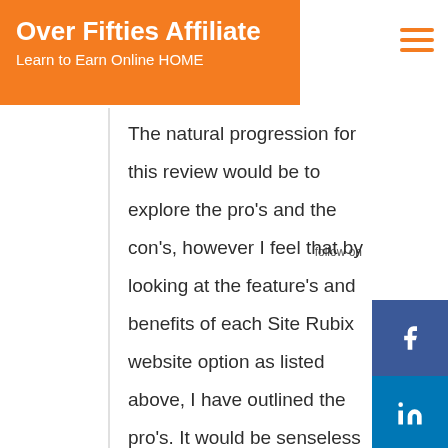Over Fifties Affiliate
Learn to Earn Online HOME
The natural progression for this review would be to explore the pro’s and the con’s, however I feel that by looking at the feature’s and benefits of each Site Rubix website option as listed above, I have outlined the pro’s. It would be senseless to just repeat the information over again.
However we will explore some con’s for Site Rubix free websites.
Pro’s